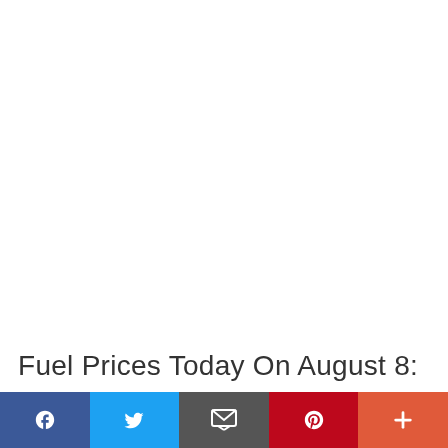Fuel Prices Today On August 8:
[Figure (infographic): Social sharing bar with five buttons: Facebook (blue), Twitter (light blue), Email (gray), Pinterest (red), More/Plus (orange-red)]